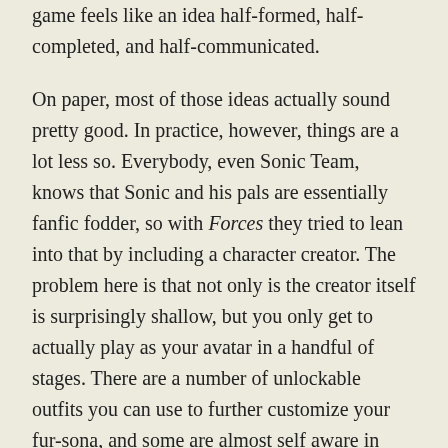game feels like an idea half-formed, half-completed, and half-communicated.
On paper, most of those ideas actually sound pretty good. In practice, however, things are a lot less so. Everybody, even Sonic Team, knows that Sonic and his pals are essentially fanfic fodder, so with Forces they tried to lean into that by including a character creator. The problem here is that not only is the creator itself is surprisingly shallow, but you only get to actually play as your avatar in a handful of stages. There are a number of unlockable outfits you can use to further customize your fur-sona, and some are almost self aware in their goofiness, but the charm quickly wears off after you've collected dozens of variants (a fair number of which are